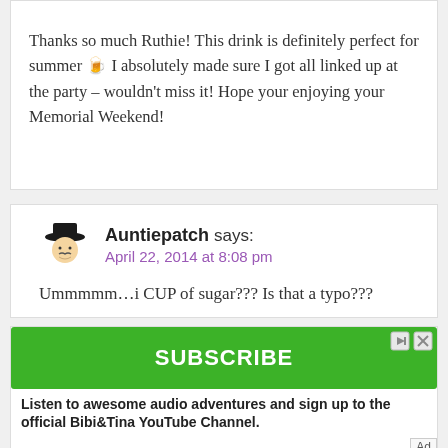Thanks so much Ruthie! This drink is definitely perfect for summer 🍹 I absolutely made sure I got all linked up at the party – wouldn't miss it! Hope your enjoying your Memorial Weekend!
Auntiepatch says:
April 22, 2014 at 8:08 pm
Ummmmm…i CUP of sugar??? Is that a typo???
[Figure (other): Green SUBSCRIBE button advertisement for Bibi&Tina YouTube Channel with close/skip ad icons. Text: Listen to awesome audio adventures and sign up to the official Bibi&Tina YouTube Channel.]